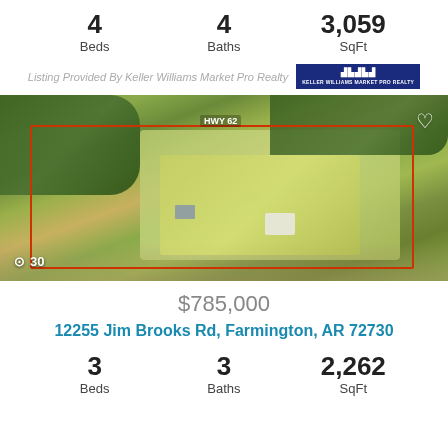4 Beds  4 Baths  3,059 SqFt
Listing Provided By Keller Williams Market Pro Realty
[Figure (photo): Aerial drone photograph of a large rural property with green fields, tree clusters, a house and outbuildings in the center, bordered by a red property boundary line. Property fronts near HWY 62. Photo counter shows 30 images.]
$785,000
12255 Jim Brooks Rd, Farmington, AR 72730
3 Beds  3 Baths  2,262 SqFt